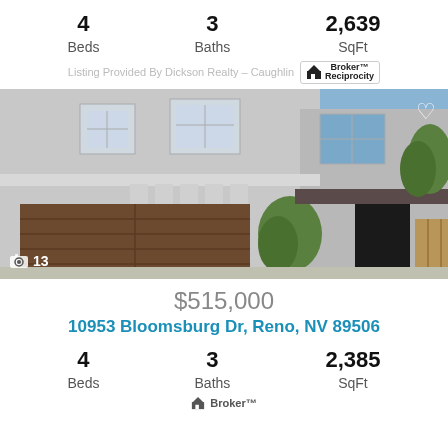4 Beds   3 Baths   2,639 SqFt
Listing Provided By Dickson Realty - Caughlin  Broker Reciprocity
[Figure (photo): Exterior photo of a two-story stucco residential home with brown garage door, dark front door, and blue sky with trees visible. Shows 13 photos indicator.]
$515,000
10953 Bloomsburg Dr, Reno, NV 89506
4 Beds   3 Baths   2,385 SqFt
Broker Reciprocity